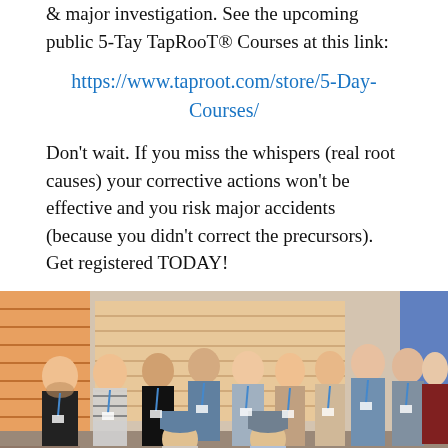& major investigation. See the upcoming public 5-Tay TapRooT® Courses at this link:
https://www.taproot.com/store/5-Day-Courses/
Don't wait. If you miss the whispers (real root causes) your corrective actions won't be effective and you risk major accidents (because you didn't correct the precursors). Get registered TODAY!
[Figure (photo): Group photo of approximately 12 people standing and sitting in two rows inside a room, some holding certificates, all wearing lanyards/badges.]